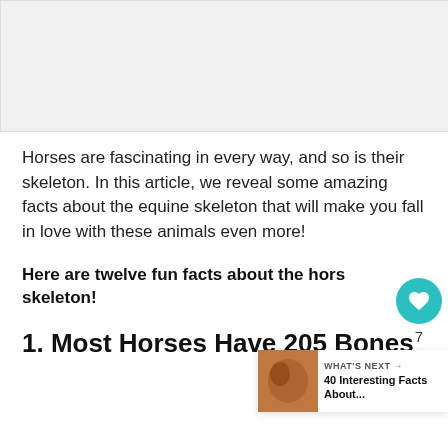[Figure (photo): Placeholder image area at the top of the article]
Horses are fascinating in every way, and so is their skeleton. In this article, we reveal some amazing facts about the equine skeleton that will make you fall in love with these animals even more!
Here are twelve fun facts about the horse skeleton!
1. Most Horses Have 205 Bones